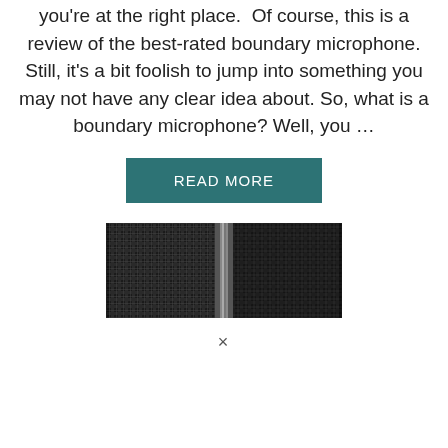you're at the right place. Of course, this is a review of the best-rated boundary microphone. Still, it's a bit foolish to jump into something you may not have any clear idea about. So, what is a boundary microphone? Well, you …
READ MORE
[Figure (photo): Close-up photo of microphone mesh grilles side by side, dark metallic woven grid texture with a vertical seam in the center]
×